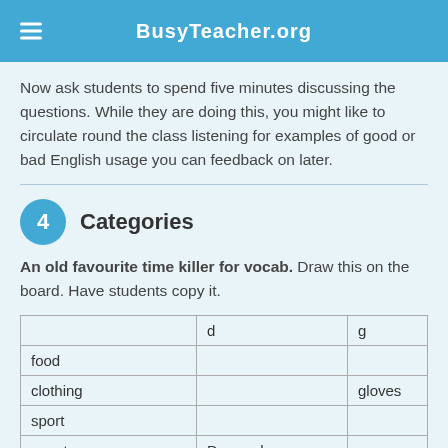BusyTeacher.org
Now ask students to spend five minutes discussing the questions. While they are doing this, you might like to circulate round the class listening for examples of good or bad English usage you can feedback on later.
4 Categories
An old favourite time killer for vocab. Draw this on the board. Have students copy it.
|  | d | g |
| --- | --- | --- |
| food |  |  |
| clothing |  | gloves |
| sport |  |  |
| country | Denmark |  |